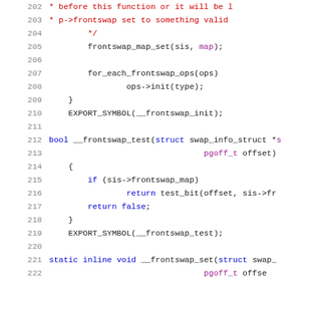[Figure (screenshot): Source code listing showing C code for frontswap kernel functions, lines 202-222, with syntax highlighting. Line numbers in gray on left, comments in red, keywords in blue, code in black/dark.]